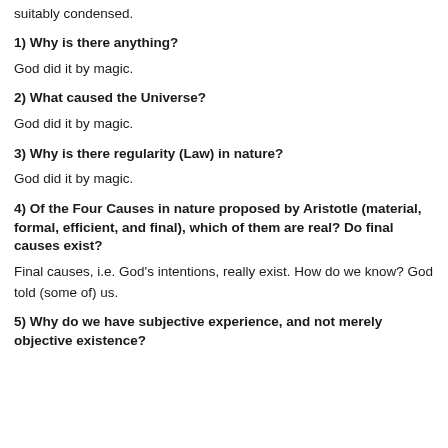suitably condensed.
1) Why is there anything?
God did it by magic.
2) What caused the Universe?
God did it by magic.
3) Why is there regularity (Law) in nature?
God did it by magic.
4) Of the Four Causes in nature proposed by Aristotle (material, formal, efficient, and final), which of them are real? Do final causes exist?
Final causes, i.e. God's intentions, really exist. How do we know? God told (some of) us.
5) Why do we have subjective experience, and not merely objective existence?